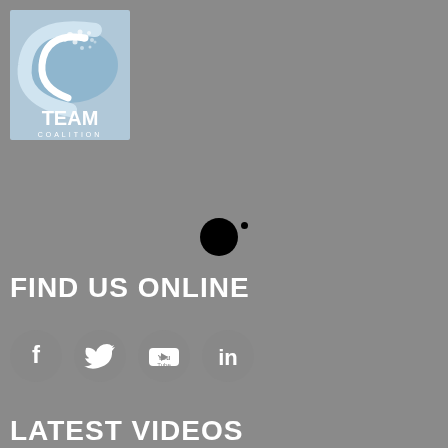[Figure (logo): TEAM Coalition logo with stylized wave and dots graphic above text TEAM COALITION]
[Figure (other): Small black filled circle with a tiny dot to its right, appears to be a loading indicator or decorative element]
FIND US ONLINE
[Figure (infographic): Four social media icons in a row: Facebook, Twitter, YouTube, LinkedIn - all in gray circular style]
LATEST VIDEOS